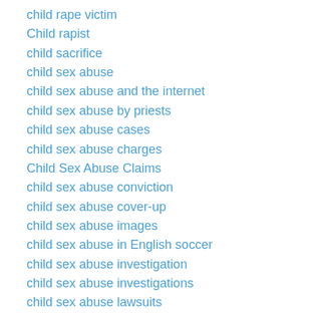child rape victim
Child rapist
child sacrifice
child sex abuse
child sex abuse and the internet
child sex abuse by priests
child sex abuse cases
child sex abuse charges
Child Sex Abuse Claims
child sex abuse conviction
child sex abuse cover-up
child sex abuse images
child sex abuse in English soccer
child sex abuse investigation
child sex abuse investigations
child sex abuse lawsuits
child sex abuse offences
child sex abuse ring
child sex abuse scandal
child sex abuse scandals